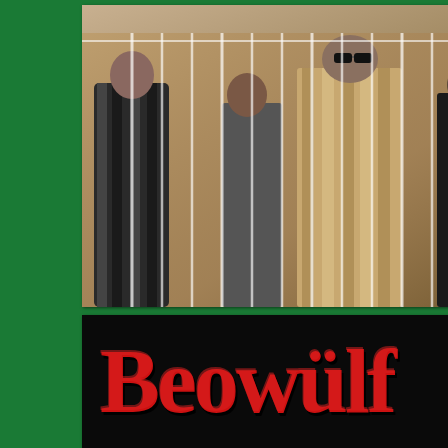[Figure (photo): Black and white / sepia-toned photo of four band members standing behind cage bars. A red banner at the top reads 'The Re-Releases' in italic script.]
[Figure (photo): Beowulf album cover. Black background with large red gothic-style 'Beowülf' lettering at top. Below is a tilted street sign reading 'Westminster 500 E Av' on a dark sign board with white text. A yellow ruler is visible on the right side of the sign.]